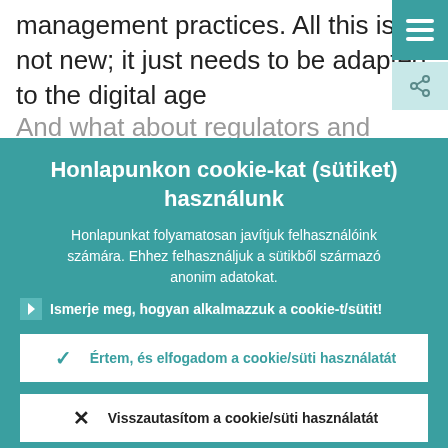management practices. All this is not new; it just needs to be adapted to the digital age
And what about regulators and
Honlapunkon cookie-kat (sütiket) használunk
Honlapunkat folyamatosan javítjuk felhasználóink számára. Ehhez felhasználjuk a sütikből származó anonim adatokat.
Ismerje meg, hogyan alkalmazzuk a cookie-t/sütit!
Értem, és elfogadom a cookie/süti használatát
Visszautasítom a cookie/süti használatát